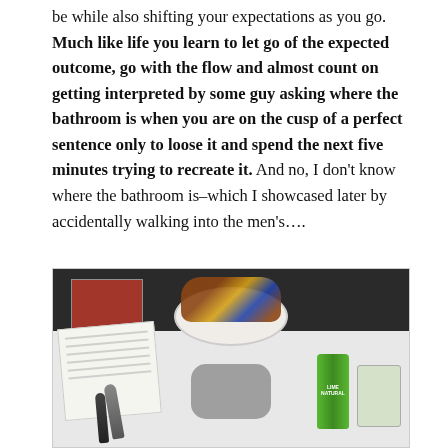be while also shifting your expectations as you go. Much like life you learn to let go of the expected outcome, go with the flow and almost count on getting interpreted by some guy asking where the bathroom is when you are on the cusp of a perfect sentence only to loose it and spend the next five minutes trying to recreate it. And no, I don't know where the bathroom is–which I showcased later by accidentally walking into the men's….
[Figure (photo): A desk or table with a plate of wrapped candy bars/chocolates elevated on a knitted or crocheted item, a green energy drink can, a glass jar, a notebook with handwriting, a magazine, and some markers.]